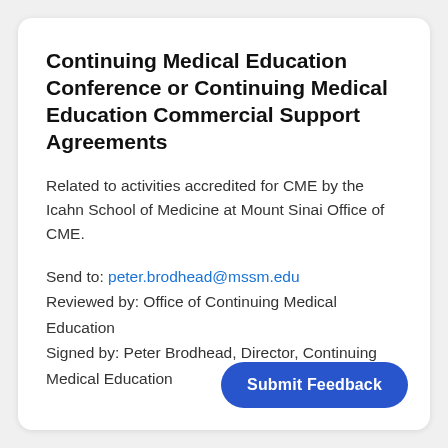Continuing Medical Education Conference or Continuing Medical Education Commercial Support Agreements
Related to activities accredited for CME by the Icahn School of Medicine at Mount Sinai Office of CME.
Send to: peter.brodhead@mssm.edu
Reviewed by: Office of Continuing Medical Education
Signed by: Peter Brodhead, Director, Continuing Medical Education